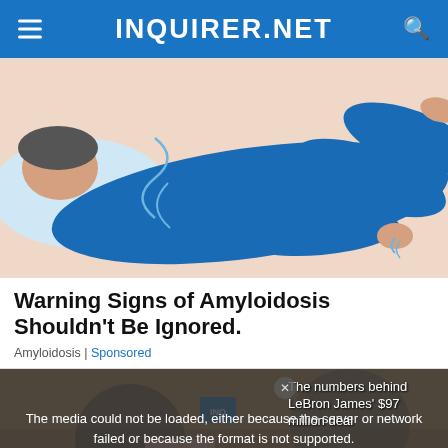INQUIRER.NET
[Figure (illustration): Illustration of a person in blue suit lying down, barefoot, suggesting fatigue or illness, on a light peach background.]
Warning Signs of Amyloidosis Shouldn't Be Ignored.
Amyloidosis | Sponsored
[Figure (screenshot): Video player area showing a basketball-related video with title 'The numbers behind LeBron James $97 million deal'. A gray media error overlay reads: 'The media could not be loaded, either because the server or network failed or because the format is not supported.' Bottom left text: 'THE NUMBERS BEHIND LEBRON JAMES' $97 MILLION DEAL'. An X close button is visible at the bottom center.]